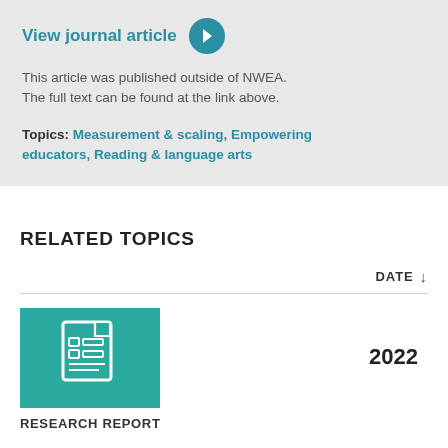View journal article
This article was published outside of NWEA. The full text can be found at the link above.
Topics: Measurement & scaling, Empowering educators, Reading & language arts
RELATED TOPICS
DATE ↓
[Figure (illustration): Teal/green square thumbnail with a white document/report icon (clipboard with lines and checkboxes)]
2022
RESEARCH REPORT